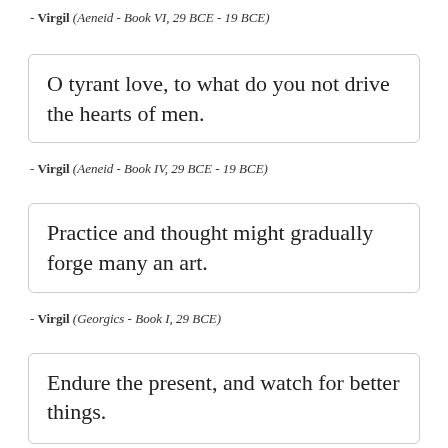- Virgil (Aeneid - Book VI, 29 BCE - 19 BCE)
O tyrant love, to what do you not drive the hearts of men.
- Virgil (Aeneid - Book IV, 29 BCE - 19 BCE)
Practice and thought might gradually forge many an art.
- Virgil (Georgics - Book I, 29 BCE)
Endure the present, and watch for better things.